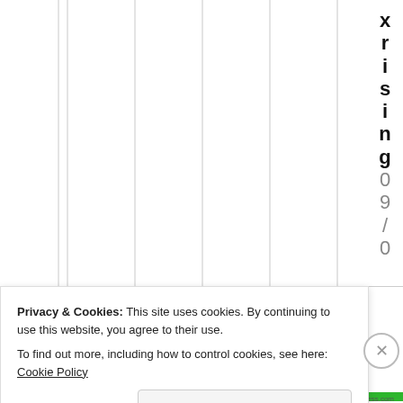[Figure (other): Partial view of a bar chart or column chart with vertical grid lines visible. A vertical text label reading 'xrising 09/0' appears along the right edge. Green bar visible at the bottom of the chart area.]
Privacy & Cookies: This site uses cookies. By continuing to use this website, you agree to their use.
To find out more, including how to control cookies, see here: Cookie Policy
Close and accept